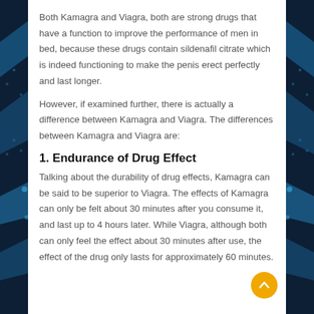Both Kamagra and Viagra, both are strong drugs that have a function to improve the performance of men in bed, because these drugs contain sildenafil citrate which is indeed functioning to make the penis erect perfectly and last longer.
However, if examined further, there is actually a difference between Kamagra and Viagra. The differences between Kamagra and Viagra are:
1. Endurance of Drug Effect
Talking about the durability of drug effects, Kamagra can be said to be superior to Viagra. The effects of Kamagra can only be felt about 30 minutes after you consume it, and last up to 4 hours later. While Viagra, although both can only feel the effect about 30 minutes after use, the effect of the drug only lasts for approximately 60 minutes.